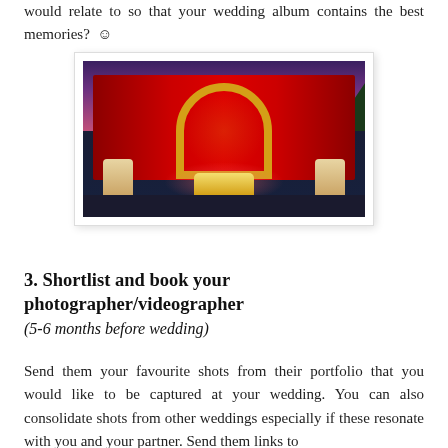would relate to so that your wedding album contains the best memories? ☺
[Figure (photo): A decorated Indian wedding stage/mandap with a red draped backdrop, golden floral arch, ornate sofa/seating, floral arrangements on pedestals, and trees in the background at twilight.]
3. Shortlist and book your photographer/videographer (5-6 months before wedding)
Send them your favourite shots from their portfolio that you would like to be captured at your wedding. You can also consolidate shots from other weddings especially if these resonate with you and your partner. Send them links to